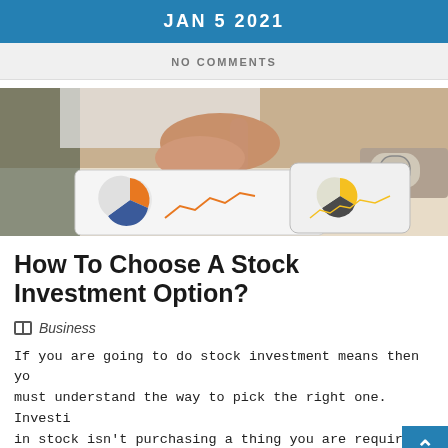JAN 5 2021
NO COMMENTS
[Figure (photo): Person pointing at financial charts on a tablet/phone, with pie charts and line graphs visible. Another person wearing a watch is also visible.]
How To Choose A Stock Investment Option?
Business
If you are going to do stock investment means then you must understand the way to pick the right one. Investi in stock isn't purchasing a thing you are required to do so